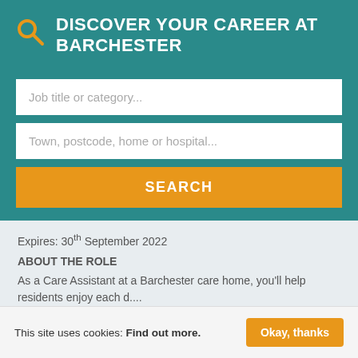DISCOVER YOUR CAREER AT BARCHESTER
Job title or category...
Town, postcode, home or hospital...
SEARCH
Expires: 30th September 2022
ABOUT THE ROLE
As a Care Assistant at a Barchester care home, you'll help residents enjoy each d....
MORE DETAILS
This site uses cookies: Find out more. Okay, thanks